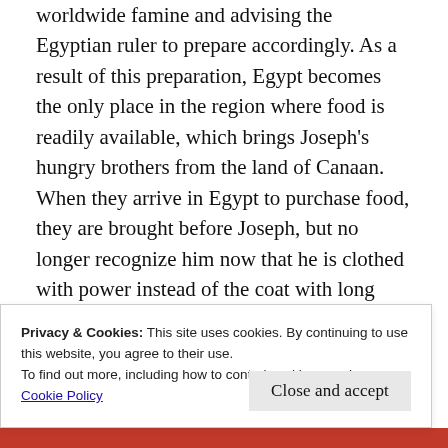worldwide famine and advising the Egyptian ruler to prepare accordingly. As a result of this preparation, Egypt becomes the only place in the region where food is readily available, which brings Joseph's hungry brothers from the land of Canaan. When they arrive in Egypt to purchase food, they are brought before Joseph, but no longer recognize him now that he is clothed with power instead of the coat with long sleeves. Ironically, Joseph now has power over the same men who once threw him into a pit and sold him into slavery. And we see Joseph wrestling with whether he should use this power to exact revenge on his brothers for their
Privacy & Cookies: This site uses cookies. By continuing to use this website, you agree to their use.
To find out more, including how to control cookies, see here:
Cookie Policy
Close and accept